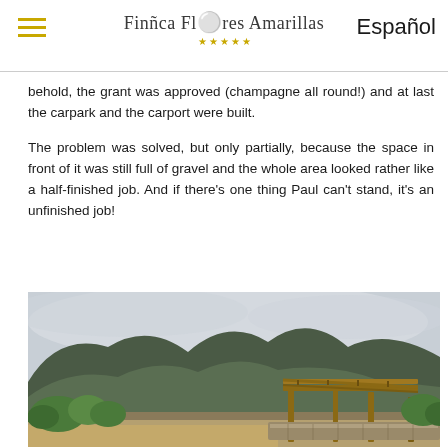Finca Flores Amarillas ★★★★★ | Español
behold, the grant was approved (champagne all round!) and at last the carpark and the carport were built.
The problem was solved, but only partially, because the space in front of it was still full of gravel and the whole area looked rather like a half-finished job. And if there's one thing Paul can't stand, it's an unfinished job!
[Figure (photo): Outdoor photo showing a mountain landscape with a wooden carport structure in the foreground, gravel/dirt area, green shrubs, and cloudy sky over dark mountain hills.]